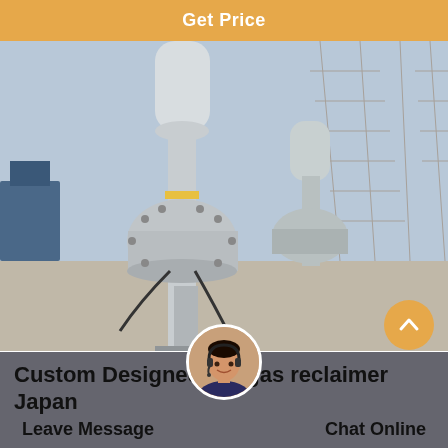Get Price
[Figure (photo): Industrial electrical substation with large grey SF6 gas insulated switchgear equipment, cables, and metal lattice structures in background. Foreground shows close-up of a large cylindrical insulator and flanged metal vessel with wiring.]
Custom Designed df6 gas reclaimer Japan
Leave Message
Chat Online